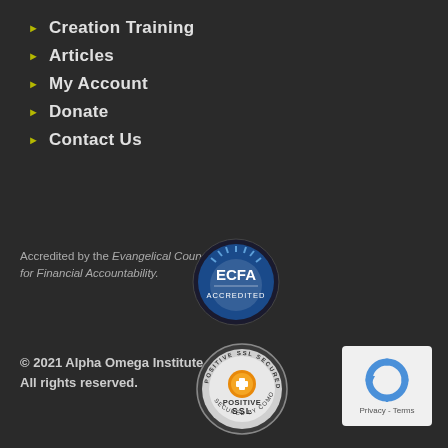Creation Training
Articles
My Account
Donate
Contact Us
Accredited by the Evangelical Council for Financial Accountability.
© 2021 Alpha Omega Institute. All rights reserved.
[Figure (logo): ECFA Accredited circular badge — blue outer ring with rays, ECFA text and ACCREDITED below]
[Figure (logo): Positive SSL Secured Website badge — circular silver badge with orange plus icon and POSITIVE SSL text, SECURED BY COMODO around ring]
[Figure (logo): Google reCAPTCHA badge — white rounded rectangle with reCAPTCHA arrows icon and Privacy - Terms text]